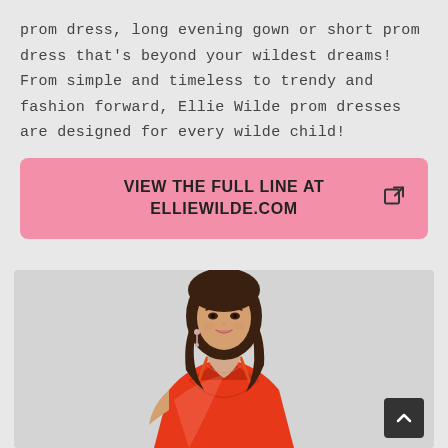prom dress, long evening gown or short prom dress that's beyond your wildest dreams! From simple and timeless to trendy and fashion forward, Ellie Wilde prom dresses are designed for every wilde child!
[Figure (infographic): Pink call-to-action button reading VIEW THE FULL LINE AT ELLIEWILDE.COM with an external link icon]
[Figure (photo): Woman wearing a red/orange satin deep V-neck prom dress, photographed from upper body, with long brown hair, against a light gray background]